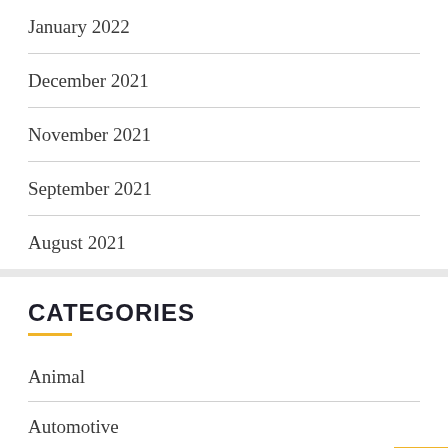January 2022
December 2021
November 2021
September 2021
August 2021
CATEGORIES
Animal
Automotive
Business